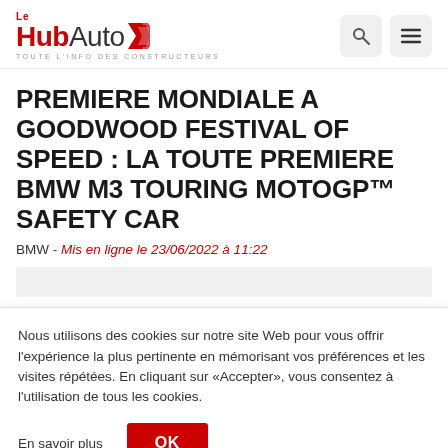Le HubAuto — TOUTE L'INFO DES CONSTRUCTEURS
PREMIERE MONDIALE A GOODWOOD FESTIVAL OF SPEED : LA TOUTE PREMIERE BMW M3 TOURING MOTOGP™ SAFETY CAR
BMW - Mis en ligne le 23/06/2022 à 11:22
[Figure (photo): Partial image of BMW M3 Touring MotoGP Safety Car (partially visible, cut off by cookie banner)]
Nous utilisons des cookies sur notre site Web pour vous offrir l'expérience la plus pertinente en mémorisant vos préférences et les visites répétées. En cliquant sur «Accepter», vous consentez à l'utilisation de tous les cookies.
En savoir plus   OK